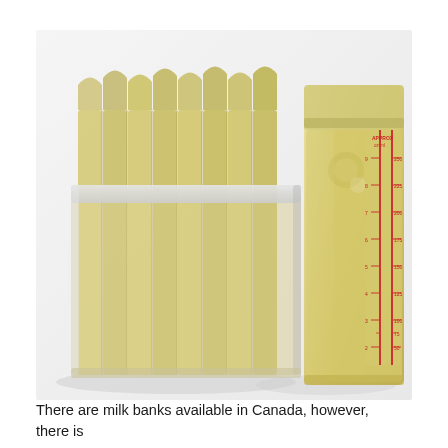[Figure (photo): Photograph of breast milk storage bags filled with yellowish milk. On the left is a plastic container holding multiple upright flat storage bags filled with pale yellow breast milk. On the right is a single upright breast milk storage pouch filled with yellow milk, showing measurement markings in red (oz and ml scales) on the front.]
There are milk banks available in Canada, however, there is